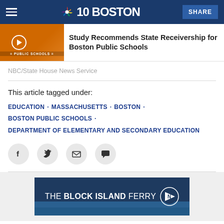NBC 10 Boston — SHARE
[Figure (screenshot): Thumbnail image of a school bus with 'PUBLIC SCHOOLS' text and a play button overlay]
Study Recommends State Receivership for Boston Public Schools
NBC/State House News Service
This article tagged under:
EDUCATION · MASSACHUSETTS · BOSTON · BOSTON PUBLIC SCHOOLS · DEPARTMENT OF ELEMENTARY AND SECONDARY EDUCATION
[Figure (screenshot): Social share icons: Facebook, Twitter, Email, Comment]
[Figure (other): Advertisement banner: THE BLOCK ISLAND FERRY with pennant logo over ocean background]